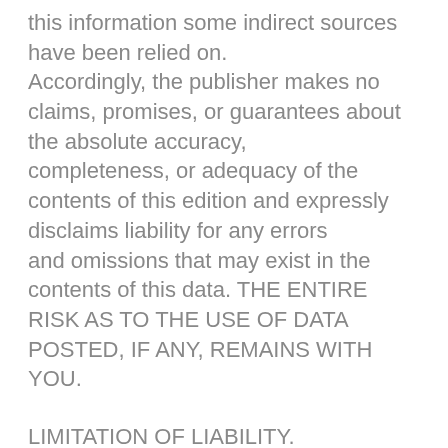this information some indirect sources have been relied on. Accordingly, the publisher makes no claims, promises, or guarantees about the absolute accuracy, completeness, or adequacy of the contents of this edition and expressly disclaims liability for any errors and omissions that may exist in the contents of this data. THE ENTIRE RISK AS TO THE USE OF DATA POSTED, IF ANY, REMAINS WITH YOU.
LIMITATION OF LIABILITY. Notwithstanding any damages that you might incur for any reason whatsoever,